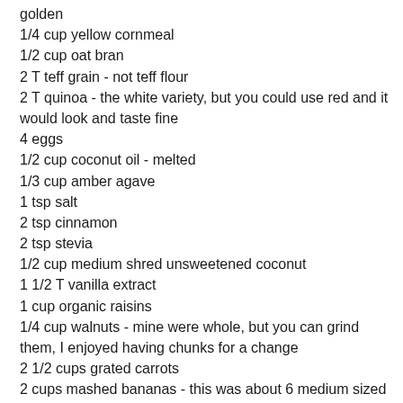golden
1/4 cup yellow cornmeal
1/2 cup oat bran
2 T teff grain - not teff flour
2 T quinoa - the white variety, but you could use red and it would look and taste fine
4 eggs
1/2 cup coconut oil - melted
1/3 cup amber agave
1 tsp salt
2 tsp cinnamon
2 tsp stevia
1/2 cup medium shred unsweetened coconut
1 1/2 T vanilla extract
1 cup organic raisins
1/4 cup walnuts - mine were whole, but you can grind them, I enjoyed having chunks for a change
2 1/2 cups grated carrots
2 cups mashed bananas - this was about 6 medium sized bananas, NOTE: my bananas were ripe for eating, but not ripe ripe BROWN ripe
2 tsp baking soda